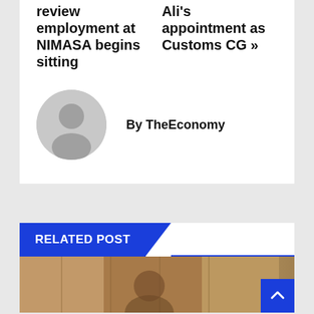review employment at NIMASA begins sitting
Ali's appointment as Customs CG »
By TheEconomy
RELATED POST
[Figure (photo): Photo of a person in traditional attire with wooden background]